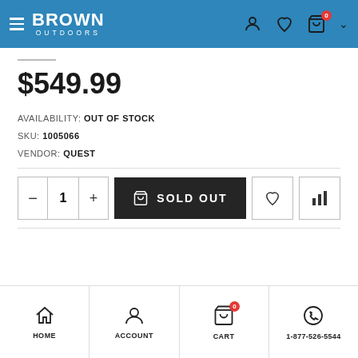BROWN OUTDOORS
$549.99
AVAILABILITY: OUT OF STOCK
SKU: 1005066
VENDOR: QUEST
[Figure (screenshot): Quantity selector with minus, 1, plus buttons; SOLD OUT button; heart icon button; bar chart icon button]
HOME  ACCOUNT  CART  1-877-526-5544